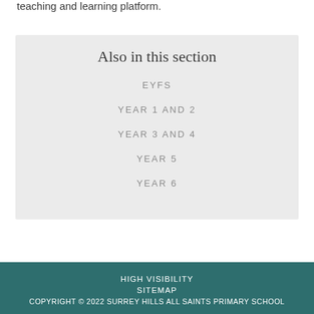teaching and learning platform.
Also in this section
EYFS
YEAR 1 AND 2
YEAR 3 AND 4
YEAR 5
YEAR 6
HIGH VISIBILITY
SITEMAP
COPYRIGHT © 2022 SURREY HILLS ALL SAINTS PRIMARY SCHOOL